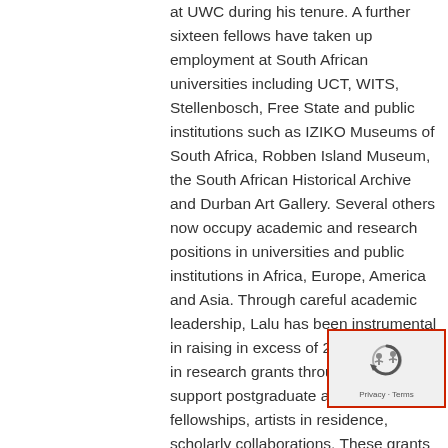at UWC during his tenure. A further sixteen fellows have taken up employment at South African universities including UCT, WITS, Stellenbosch, Free State and public institutions such as IZIKO Museums of South Africa, Robben Island Museum, the South African Historical Archive and Durban Art Gallery. Several others now occupy academic and research positions in universities and public institutions in Africa, Europe, America and Asia. Through careful academic leadership, Lalu has been instrumental in raising in excess of 200 million Rand in research grants through the CHR to support postgraduate and postdoctoral fellowships, artists in residence, scholarly collaborations. These grants were secured from the National Research Foundation, the Volkswagen Foundation, Andrew W Mellon Foundation, Ford Foundation, Department of Arts and Culture, National Institute for the Humanities and Social Sciences, the American Council for Learned Societies, Rand Merchant Bank, PPS, the Consortium for Humanities Centres and Institutes, and the Dullah Omar Foundation. In addition to this, the research leadership and public scholarship of the CHR has led to significant
[Figure (other): reCAPTCHA widget with a circular arrow icon and 'Privacy · Terms' text, overlaid with a red border]